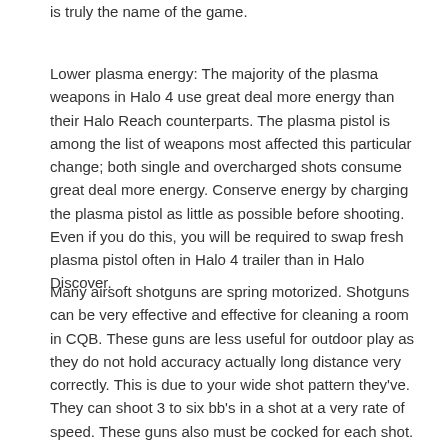is truly the name of the game.
Lower plasma energy: The majority of the plasma weapons in Halo 4 use great deal more energy than their Halo Reach counterparts. The plasma pistol is among the list of weapons most affected this particular change; both single and overcharged shots consume great deal more energy. Conserve energy by charging the plasma pistol as little as possible before shooting. Even if you do this, you will be required to swap fresh plasma pistol often in Halo 4 trailer than in Halo Discover.
Many airsoft shotguns are spring motorized. Shotguns can be very effective and effective for cleaning a room in CQB. These guns are less useful for outdoor play as they do not hold accuracy actually long distance very correctly. This is due to your wide shot pattern they've. They can shoot 3 to six bb's in a shot at a very rate of speed. These guns also must be cocked for each shot. Appears less inconvenient as cocking a pistol every